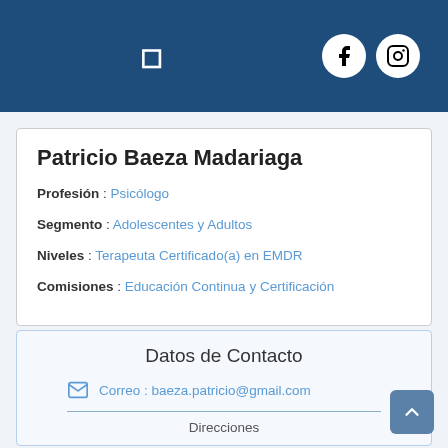Header bar with navigation icon and social media icons (Facebook, Instagram)
Patricio Baeza Madariaga
Profesión : Psicólogo
Segmento : Adolescentes y Adultos
Niveles : Terapeuta Certificado(a) en EMDR
Comisiones : Educación Continua y Certificación
Datos de Contacto
Correo : baeza.patricio@gmail.com
Direcciones